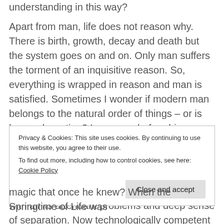understanding in this way? Apart from man, life does not reason why. There is birth, growth, decay and death but the system goes on and on. Only man suffers the torment of an inquisitive reason. So, everything is wrapped in reason and man is satisfied. Sometimes I wonder if modern man belongs to the natural order of things – or is he an aberration? Long ago, before his present state of displacement he was close to the earth and the sky, to the seasons, to the green world and the sea.
Then he broke away and became civilized with all its attendant problems and deep sense of separation. Now technologically competent and reason wise he seems lost
Privacy & Cookies: This site uses cookies. By continuing to use this website, you agree to their use. To find out more, including how to control cookies, see here: Cookie Policy
magic that once he knew? When the Springtime of Life was